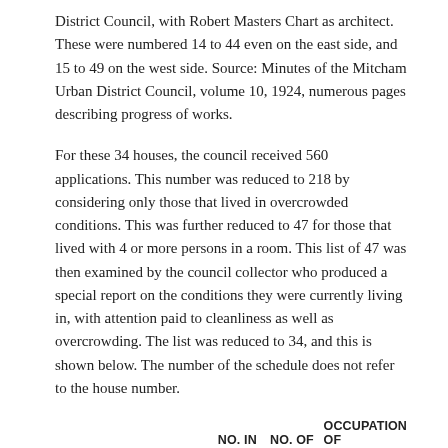District Council, with Robert Masters Chart as architect. These were numbered 14 to 44 even on the east side, and 15 to 49 on the west side. Source: Minutes of the Mitcham Urban District Council, volume 10, 1924, numerous pages describing progress of works.
For these 34 houses, the council received 560 applications. This number was reduced to 218 by considering only those that lived in overcrowded conditions. This was further reduced to 47 for those that lived with 4 or more persons in a room. This list of 47 was then examined by the council collector who produced a special report on the conditions they were currently living in, with attention paid to cleanliness as well as overcrowding. The list was reduced to 34, and this is shown below. The number of the schedule does not refer to the house number.
| NO. | NAME | ADDRESS | NO. IN FAMILY | NO. OF ROOMS | OCCUPATION OF HUSBAND |
| --- | --- | --- | --- | --- | --- |